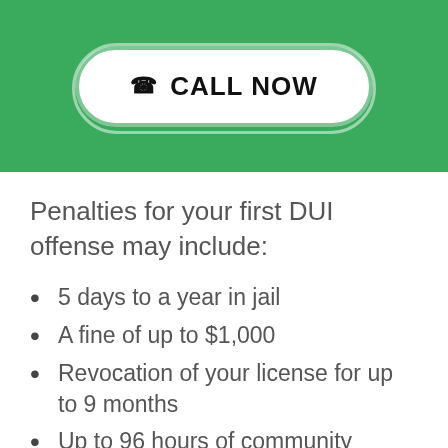[Figure (other): Green header bar with a white rounded 'CALL NOW' button with phone icon]
Penalties for your first DUI offense may include:
5 days to a year in jail
A fine of up to $1,000
Revocation of your license for up to 9 months
Up to 96 hours of community service
Alcohol education
Ignition interlock device up to 9 months
Drivers under 21 years old can have